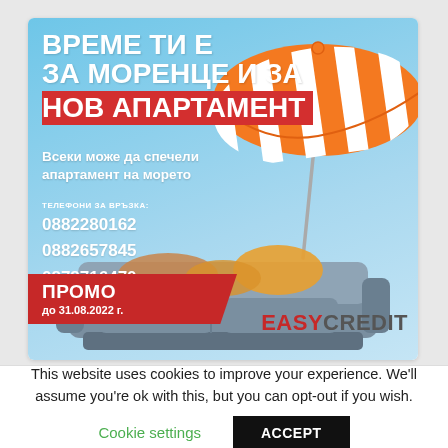[Figure (illustration): EasyCredit promotional ad banner with Bulgarian text. Sky blue background with beach umbrella (orange/white striped) and a gray sofa with orange/yellow cushions. Text includes headline in white/red: 'ВРЕМЕ ТИ Е ЗА МОРЕНЦЕ И ЗА НОВ АПАРТАМЕНТ', subtext 'Всеки може да спечели апартамент на морето', phone numbers 0882280162, 0882657845, 0878716470, promo label 'ПРОМО до 31.08.2022 г.', and EasyCredit logo.]
This website uses cookies to improve your experience. We'll assume you're ok with this, but you can opt-out if you wish.
Cookie settings
ACCEPT